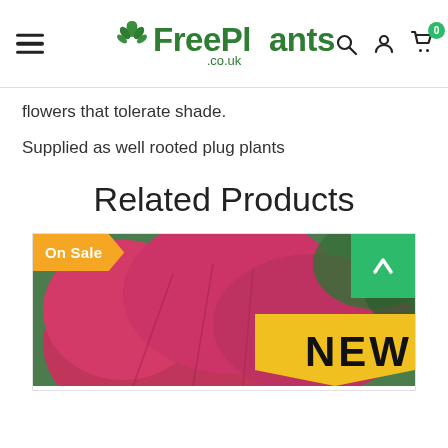FreePlants.co.uk — navigation with hamburger menu, search, account, and cart icons
flowers that tolerate shade.
Supplied as well rooted plug plants
Related Products
[Figure (photo): Product card showing a pink flower (petunia) with an orange 'On Sale' badge on the top left, a green scroll-up arrow button on the top right, and a yellow 'NEW' tag label on the flower image.]